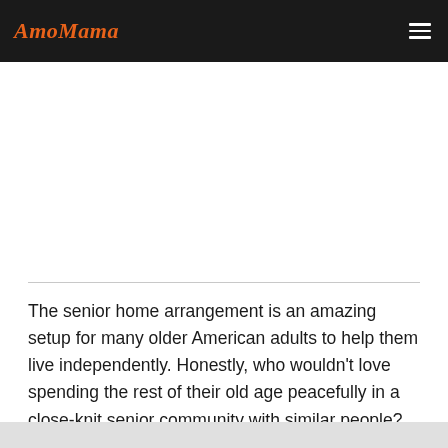AmoMama
The senior home arrangement is an amazing setup for many older American adults to help them live independently. Honestly, who wouldn't love spending the rest of their old age peacefully in a close-knit senior community with similar people?
After seeing 93-year-old Juanita Fitzgerald, a senior home resident in Eustis, Florida, that's what anybody